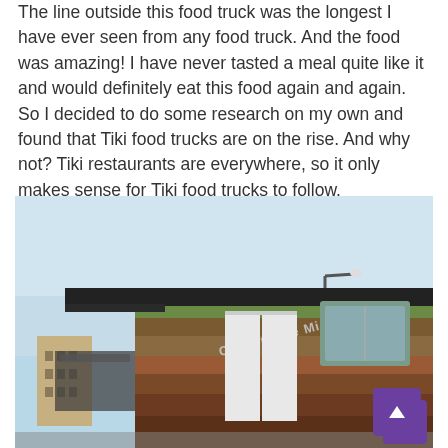The line outside this food truck was the longest I have ever seen from any food truck. And the food was amazing! I have never tasted a meal quite like it and would definitely eat this food again and again. So I decided to do some research on my own and found that Tiki food trucks are on the rise. And why not? Tiki restaurants are everywhere, so it only makes sense for Tiki food trucks to follow.
[Figure (photo): A food truck with colorful striped siding (green, brown, red tones) and text reading 'Cruisin the Midwest' along the roofline. A service window area is visible, along with a street lamp in the background and a brick building to the lower left. A purple scroll-up button appears in the lower right corner.]